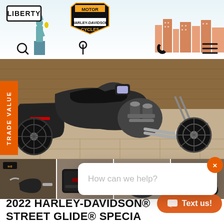[Figure (screenshot): Liberty Harley-Davidson dealership website header with Liberty logo, Harley-Davidson Motor Cycles shield logo, and city skyline background with Statue of Liberty]
[Figure (photo): 2022 Harley-Davidson Street Glide Special Denim FLHXS motorcycle in black, displayed indoors on tiled floor, side profile view showing engine and bags]
TRADE VALUE
[Figure (photo): Thumbnail row showing three cropped views of the motorcycle from different angles]
How can we help?
2022 HARLEY-DAVIDSON® STREET GLIDE® SPECIAL DENIM FLHXS
Text us!